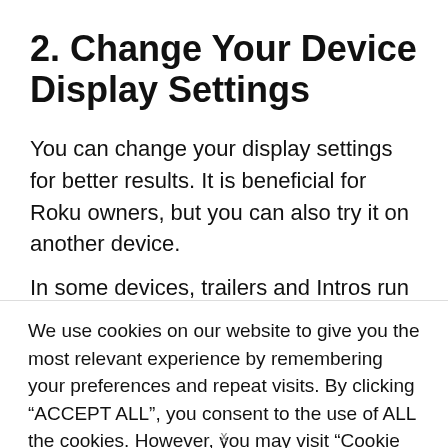2. Change Your Device Display Settings
You can change your display settings for better results. It is beneficial for Roku owners, but you can also try it on another device.
In some devices, trailers and Intros run at different resolutions than the actual videos. Other solutions
We use cookies on our website to give you the most relevant experience by remembering your preferences and repeat visits. By clicking “ACCEPT ALL”, you consent to the use of ALL the cookies. However, you may visit “Cookie Settings” to provide a controlled consent.